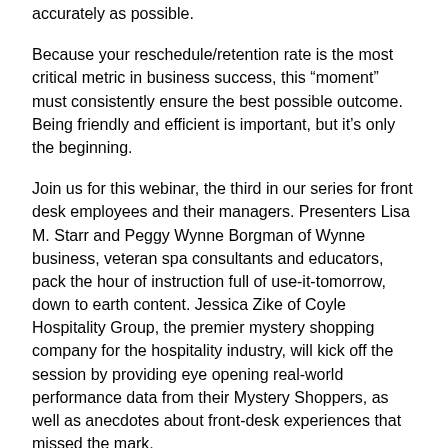accurately as possible.
Because your reschedule/retention rate is the most critical metric in business success, this “moment” must consistently ensure the best possible outcome. Being friendly and efficient is important, but it’s only the beginning.
Join us for this webinar, the third in our series for front desk employees and their managers. Presenters Lisa M. Starr and Peggy Wynne Borgman of Wynne business, veteran spa consultants and educators, pack the hour of instruction full of use-it-tomorrow, down to earth content. Jessica Zike of Coyle Hospitality Group, the premier mystery shopping company for the hospitality industry, will kick off the session by providing eye opening real-world performance data from their Mystery Shoppers, as well as anecdotes about front-desk experiences that missed the mark.
Participants will learn: